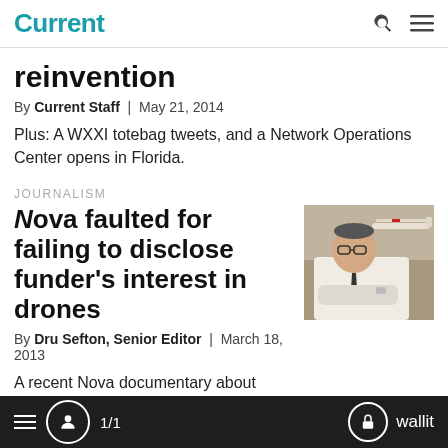Current
reinvention
By Current Staff | May 21, 2014
Plus: A WXXI totebag tweets, and a Network Operations Center opens in Florida.
JOURNALISM
Nova faulted for failing to disclose funder's interest in drones
[Figure (photo): Man in white shirt and dark tie with arms crossed standing in front of a model airplane/drone display]
By Dru Sefton, Senior Editor | March 18, 2013
A recent Nova documentary about
1/1   wallit